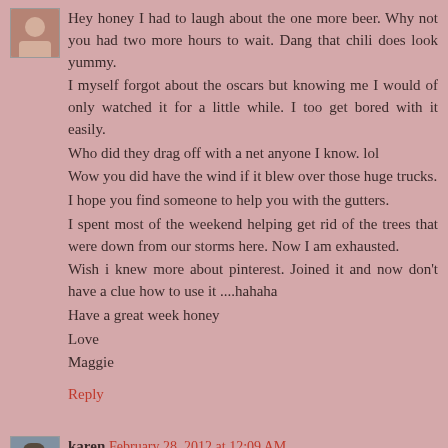[Figure (photo): Small avatar photo of a person, top-left of first comment]
Hey honey I had to laugh about the one more beer. Why not you had two more hours to wait. Dang that chili does look yummy.
I myself forgot about the oscars but knowing me I would of only watched it for a little while. I too get bored with it easily.
Who did they drag off with a net anyone I know. lol
Wow you did have the wind if it blew over those huge trucks.
I hope you find someone to help you with the gutters.
I spent most of the weekend helping get rid of the trees that were down from our storms here. Now I am exhausted.
Wish i knew more about pinterest. Joined it and now don't have a clue how to use it ....hahaha
Have a great week honey
Love
Maggie
Reply
[Figure (photo): Small avatar photo of karen, top-left of second comment]
karen February 28, 2012 at 12:09 AM
Wish I could have had some of that chili with you! Love the